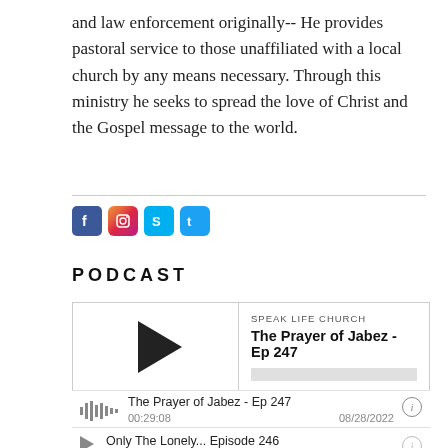and law enforcement originally-- He provides pastoral service to those unaffiliated with a local church by any means necessary. Through this ministry he seeks to spread the love of Christ and the Gospel message to the world.
[Figure (other): Social media icons: Facebook, Instagram, Skype, Twitter]
PODCAST
[Figure (other): Podcast player widget showing episode: The Prayer of Jabez - Ep 247. Speak Life Church. Timestamp 00:00:00. Controls: subscribe, download, embed, keyhole icon.]
The Prayer of Jabez - Ep 247 | 00:29:08 | 08/28/2022
Only The Lonely... Episode 246 | 00:20:01 | 08/21/2022
Do you have more than you can handle? - Ep. 245